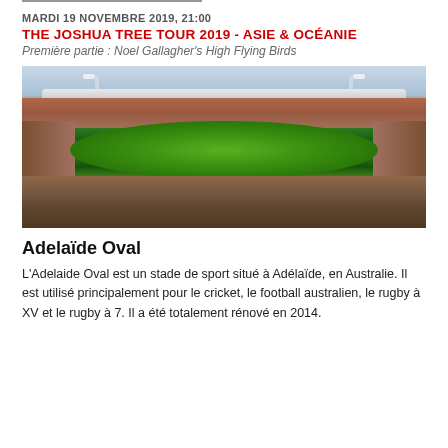MARDI 19 NOVEMBRE 2019, 21:00
THE JOSHUA TREE TOUR 2019 - ASIE & OCÉANIE
Première partie : Noel Gallagher's High Flying Birds
[Figure (photo): Aerial panoramic view of Adelaide Oval stadium, packed with spectators, showing the oval cricket/football field, stands, roof structure, and floodlight towers under a partly cloudy sky.]
Adelaïde Oval
L'Adelaide Oval est un stade de sport situé à Adélaïde, en Australie. Il est utilisé principalement pour le cricket, le football australien, le rugby à XV et le rugby à 7. Il a été totalement rénové en 2014.